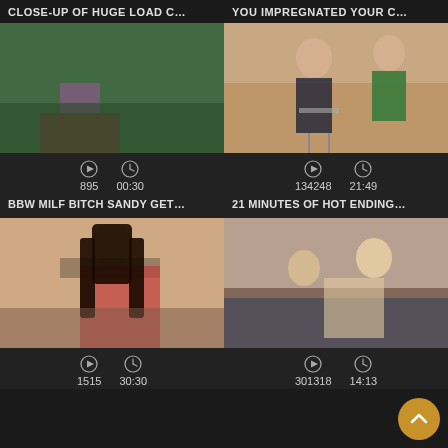CLOSE-UP OF HUGE LOAD C...
YOU IMPREGNATED YOUR C...
[Figure (photo): Green-tinted bedroom scene thumbnail]
895   00:30
BBW MILF BITCH SANDY GET...
[Figure (photo): Two people seated, older woman in patterned dress and man in green shirt]
134248   21:49
21 MINUTES OF HOT ENDING...
[Figure (photo): Young brunette woman posing on bed]
1515   30:30
[Figure (photo): Couple on couch explicit scene]
301318   14:13